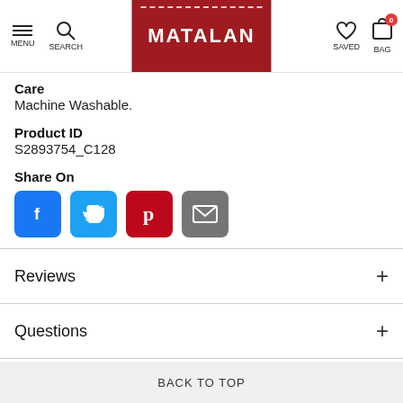[Figure (screenshot): Matalan website navigation bar with menu, search, logo, saved and bag icons]
Care
Machine Washable.
Product ID
S2893754_C128
Share On
[Figure (infographic): Social sharing buttons: Facebook, Twitter, Pinterest, Email]
Reviews
Questions
Delivery & Returns
BACK TO TOP